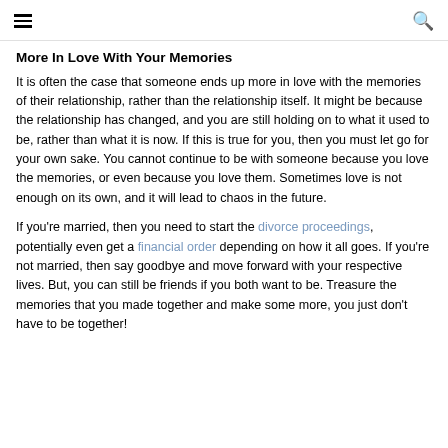≡  🔍
More In Love With Your Memories
It is often the case that someone ends up more in love with the memories of their relationship, rather than the relationship itself. It might be because the relationship has changed, and you are still holding on to what it used to be, rather than what it is now. If this is true for you, then you must let go for your own sake. You cannot continue to be with someone because you love the memories, or even because you love them. Sometimes love is not enough on its own, and it will lead to chaos in the future.
If you're married, then you need to start the divorce proceedings, potentially even get a financial order depending on how it all goes. If you're not married, then say goodbye and move forward with your respective lives. But, you can still be friends if you both want to be. Treasure the memories that you made together and make some more, you just don't have to be together!